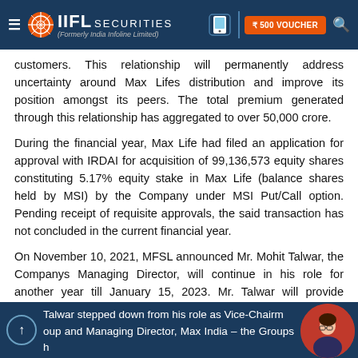IIFL Securities (Formerly India Infoline Limited)
customers. This relationship will permanently address uncertainty around Max Lifes distribution and improve its position amongst its peers. The total premium generated through this relationship has aggregated to over 50,000 crore.
During the financial year, Max Life had filed an application for approval with IRDAI for acquisition of 99,136,573 equity shares constituting 5.17% equity stake in Max Life (balance shares held by MSI) by the Company under MSI Put/Call option. Pending receipt of requisite approvals, the said transaction has not concluded in the current financial year.
On November 10, 2021, MFSL announced Mr. Mohit Talwar, the Companys Managing Director, will continue in his role for another year till January 15, 2023. Mr. Talwar will provide continuity to the key initiatives that are currently underway. He will also remain on the Board of Max Life and Max India, as a Non-Executive Director.
Talwar stepped down from his role as Vice-Chairman Group and Managing Director, Max India – the Groups h...